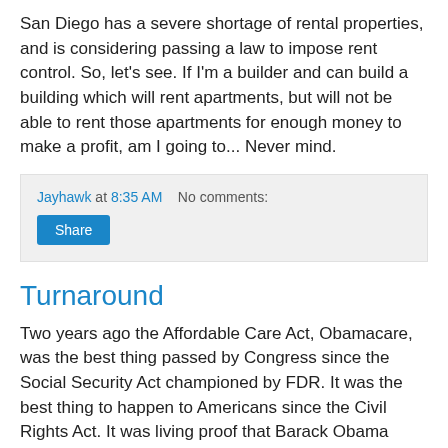San Diego has a severe shortage of rental properties, and is considering passing a law to impose rent control. So, let's see. If I'm a builder and can build a building which will rent apartments, but will not be able to rent those apartments for enough money to make a profit, am I going to... Never mind.
Jayhawk at 8:35 AM   No comments:
Share
Turnaround
Two years ago the Affordable Care Act, Obamacare, was the best thing passed by Congress since the Social Security Act championed by FDR. It was the best thing to happen to Americans since the Civil Rights Act. It was living proof that Barack Obama could walk on water.
On Wednesday, nine Democrats on a stage ganged up on and viciously berated Joe Biden for defending Obamacare.